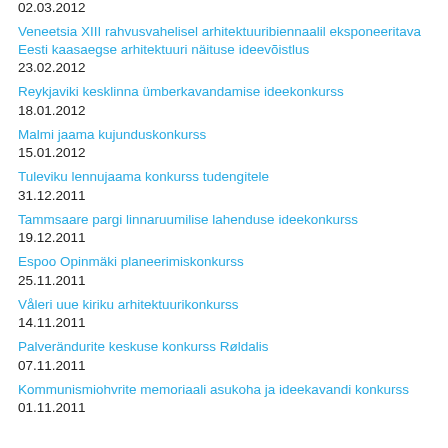02.03.2012
Veneetsia XIII rahvusvahelisel arhitektuuribiennaalil eksponeeritava Eesti kaasaegse arhitektuuri näituse ideevõistlus
23.02.2012
Reykjaviki kesklinna ümberkavandamise ideekonkurss
18.01.2012
Malmi jaama kujunduskonkurss
15.01.2012
Tuleviku lennujaama konkurss tudengitele
31.12.2011
Tammsaare pargi linnaruumilise lahenduse ideekonkurss
19.12.2011
Espoo Opinmäki planeerimiskonkurss
25.11.2011
Våleri uue kiriku arhitektuurikonkurss
14.11.2011
Palverändurite keskuse konkurss Røldalis
07.11.2011
Kommunismiohvrite memoriaali asukoha ja ideekavandi konkurss
01.11.2011